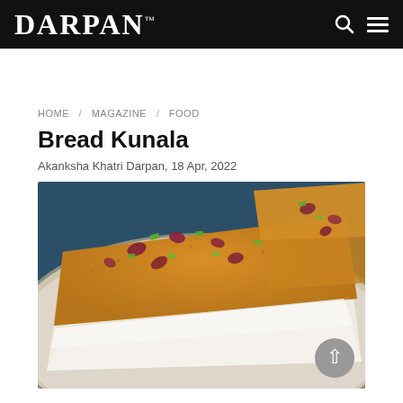DARPAN™
HOME / MAGAZINE / FOOD
Bread Kunala
Akanksha Khatri Darpan, 18 Apr, 2022
[Figure (photo): Close-up photo of Bread Kunala dessert slices on a ceramic plate, topped with dried rose petals and chopped pistachios, with a golden crispy crust on top and white cheese/cream layer visible on the side.]